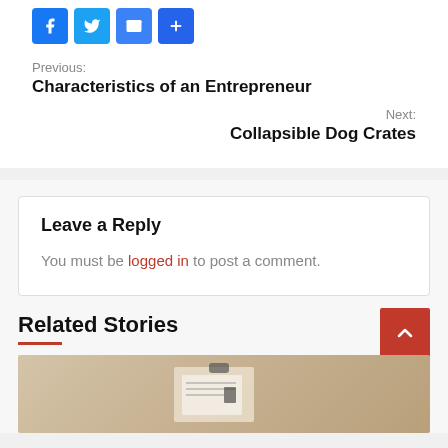[Figure (other): Social share buttons: Facebook, Twitter, Email, and a plus/share button]
Previous:
Characteristics of an Entrepreneur
Next:
Collapsible Dog Crates
Leave a Reply
You must be logged in to post a comment.
Related Stories
[Figure (photo): Blurred photo of a clipboard with paper on a wooden desk]